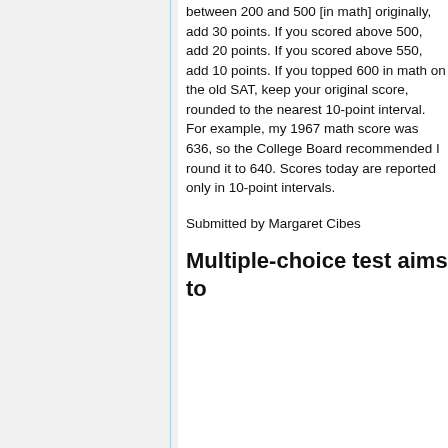between 200 and 500 [in math] originally, add 30 points. If you scored above 500, add 20 points. If you scored above 550, add 10 points. If you topped 600 in math on the old SAT, keep your original score, rounded to the nearest 10-point interval. For example, my 1967 math score was 636, so the College Board recommended I round it to 640. Scores today are reported only in 10-point intervals.
Submitted by Margaret Cibes
Multiple-choice test aims to